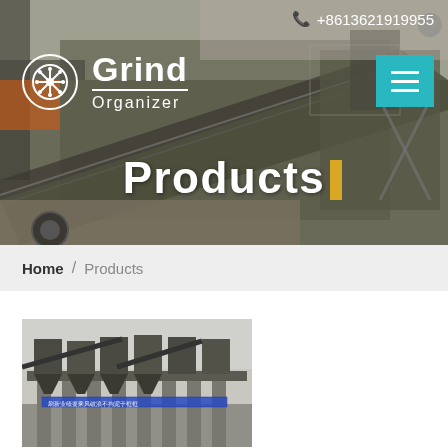+8613621919955
Grind Organizer
Products
Home / Products
[Figure (photo): Industrial grinding and crushing machinery facility with large conveyor belts and processing equipment at a construction or mining site.]
[Figure (photo): Industrial sand or aggregate processing plant with multiple large hoppers and conveyor systems on concrete supports, with Chinese text banner visible.]